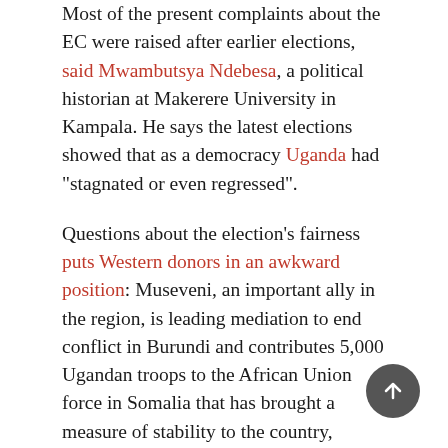Most of the present complaints about the EC were raised after earlier elections, said Mwambutsya Ndebesa, a political historian at Makerere University in Kampala. He says the latest elections showed that as a democracy Uganda had "stagnated or even regressed".
Questions about the election's fairness puts Western donors in an awkward position: Museveni, an important ally in the region, is leading mediation to end conflict in Burundi and contributes 5,000 Ugandan troops to the African Union force in Somalia that has brought a measure of stability to the country, Reuters adds.
Stephanie Wolters, an analyst at the Institute for Security Studies, said of the criticism from Western